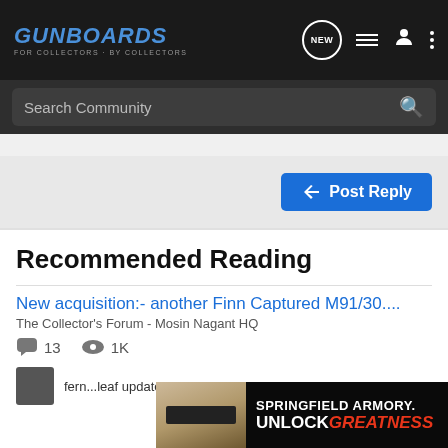GUNBOARDS FOR COLLECTORS BY COLLECTORS
Search Community
Post Reply
Recommended Reading
New acquisition:- another Finn Captured M91/30....
The Collector's Forum - Mosin Nagant HQ
13  1K
fern...leaf updated May 11, 2019
[Figure (screenshot): Springfield Armory advertisement banner reading SPRINGFIELD ARMORY. UNLOCK GREATNESS]